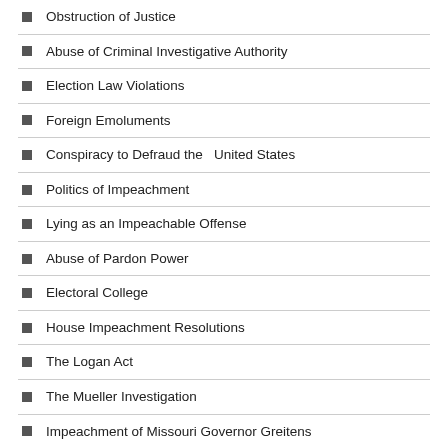Obstruction of Justice
Abuse of Criminal Investigative Authority
Election Law Violations
Foreign Emoluments
Conspiracy to Defraud the   United States
Politics of Impeachment
Lying as an Impeachable Offense
Abuse of Pardon Power
Electoral College
House Impeachment Resolutions
The Logan Act
The Mueller Investigation
Impeachment of Missouri Governor Greitens
Historical Precedent for Impeachment
Messages from Professor Bowman